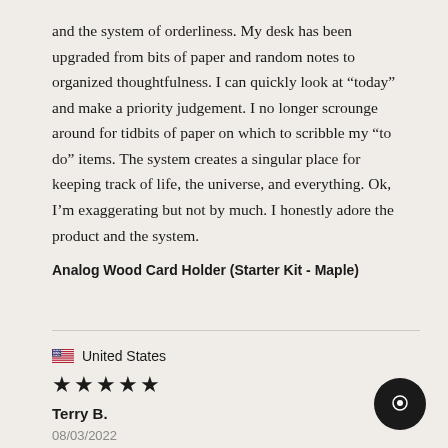and the system of orderliness. My desk has been upgraded from bits of paper and random notes to organized thoughtfulness. I can quickly look at “today” and make a priority judgement. I no longer scrounge around for tidbits of paper on which to scribble my “to do” items. The system creates a singular place for keeping track of life, the universe, and everything. Ok, I’m exaggerating but not by much. I honestly adore the product and the system.
Analog Wood Card Holder (Starter Kit - Maple)
United States
★★★★★
Terry B.
08/03/2022